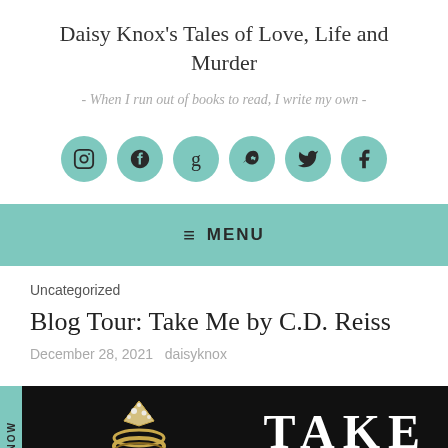Daisy Knox's Tales of Love, Life and Murder
- When I run out of books to read, I write my own -
[Figure (infographic): Six teal circular social media icon buttons: Instagram, Pinterest, Goodreads, Amazon, Twitter, Facebook]
MENU
Uncategorized
Blog Tour: Take Me by C.D. Reiss
December 28, 2021   daisyknox
[Figure (photo): Book cover image for Take Me by C.D. Reiss against a black background. A diamond ring is shown on the left. The word TAKE appears in large white serif letters on the right. A teal NOW bar is on the far left.]